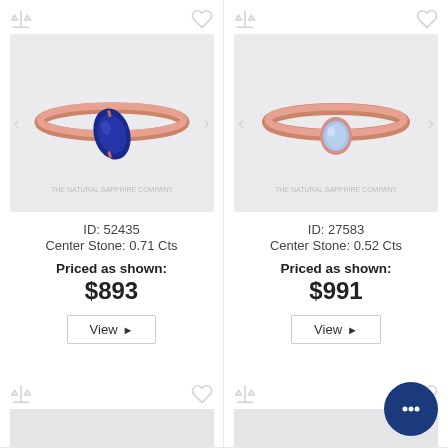[Figure (photo): Rose gold ring with marquise-cut dark blue sapphire center stone on light gray background. Watermark: THE NATURAL SAPPHIRE COMPANY]
ID: 52435
Center Stone: 0.71 Cts
Priced as shown:
$893
View ▶
[Figure (photo): Rose gold ring with oval-cut light blue sapphire center stone on light gray background. Watermark: THE NATURAL SAPPHIRE COMPANY]
ID: 27583
Center Stone: 0.52 Cts
Priced as shown:
$991
View ▶
[Figure (photo): Partial view of a third ring product card at bottom left]
[Figure (photo): Partial view of a fourth ring product card at bottom right]